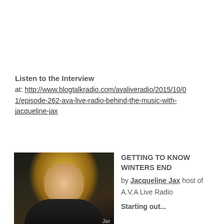Listen to the Interview
at: http://www.blogtalkradio.com/avaliveradio/2015/10/01/episode-262-ava-live-radio-behind-the-music-with-jacqueline-jax
[Figure (photo): Photo of a blonde woman (Jacqueline Jax) with label 'Jax' in lower right corner, dark background]
GETTING TO KNOW WINTERS END
by Jacqueline Jax host of A.V.A Live Radio
Starting out...